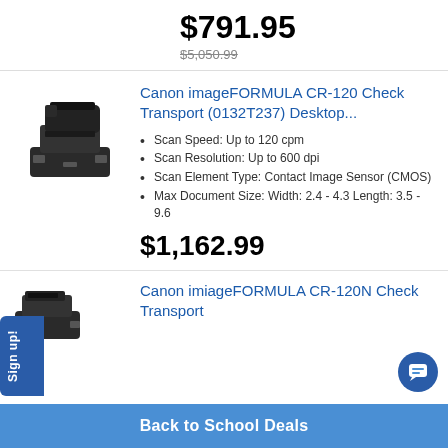$791.95
$5,050.99
[Figure (photo): Canon imageFORMULA CR-120 Check Transport device, black, desktop scanner]
Canon imageFORMULA CR-120 Check Transport (0132T237) Desktop...
Scan Speed: Up to 120 cpm
Scan Resolution: Up to 600 dpi
Scan Element Type: Contact Image Sensor (CMOS)
Max Document Size: Width: 2.4 - 4.3 Length: 3.5 - 9.6
$1,162.99
[Figure (photo): Canon imiageFORMULA CR-120N Check Transport device, partial view]
Canon imiageFORMULA CR-120N Check Transport
Back to School Deals